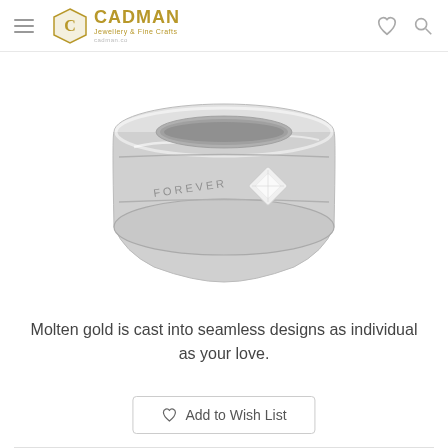Cadman
[Figure (photo): Close-up photo of a silver/white gold wedding band ring with 'FOREVER' engraving and a princess-cut diamond inset, shown at an angle against a white background.]
Molten gold is cast into seamless designs as individual as your love.
Add to Wish List
Share   Drop a Hint